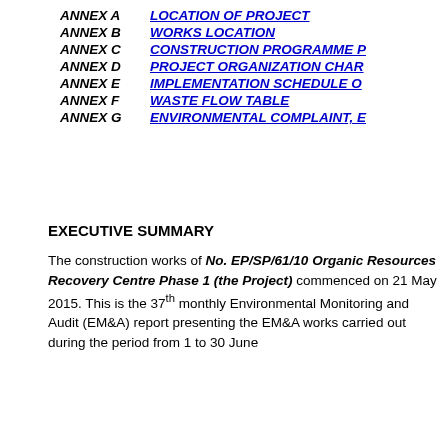ANNEX A   LOCATION OF PROJECT
ANNEX B   WORKS LOCATION
ANNEX C   CONSTRUCTION PROGRAMME P...
ANNEX D   PROJECT ORGANIZATION CHAR...
ANNEX E   IMPLEMENTATION SCHEDULE O...
ANNEX F   WASTE FLOW TABLE
ANNEX G   ENVIRONMENTAL COMPLAINT, E...
EXECUTIVE SUMMARY
The construction works of No. EP/SP/61/10 Organic Resources Recovery Centre Phase 1 (the Project) commenced on 21 May 2015. This is the 37th monthly Environmental Monitoring and Audit (EM&A) report presenting the EM&A works carried out during the period from 1 to 30 June 2018 in accordance with the EM&A Manual...